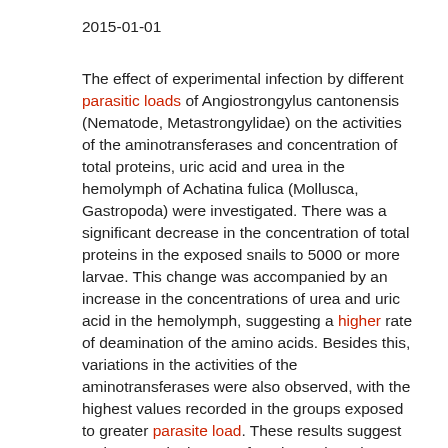2015-01-01
The effect of experimental infection by different parasitic loads of Angiostrongylus cantonensis (Nematode, Metastrongylidae) on the activities of the aminotransferases and concentration of total proteins, uric acid and urea in the hemolymph of Achatina fulica (Mollusca, Gastropoda) were investigated. There was a significant decrease in the concentration of total proteins in the exposed snails to 5000 or more larvae. This change was accompanied by an increase in the concentrations of urea and uric acid in the hemolymph, suggesting a higher rate of deamination of the amino acids. Besides this, variations in the activities of the aminotransferases were also observed, with the highest values recorded in the groups exposed to greater parasite load. These results suggest an increase in the use of total proteins, since there was increased formation of nitrogenous catabolites, in conformity with an increase in the aminotransferase activities. Infection was verified by the fact that L3 larvae recovered from the snails was proportion to the exposure dose of L1 larvae. Histopathological results also indicated presence of an inflammatory cell infiltrate, favoring an increase of both transaminases. Copyright © 2014 Elsevier Inc. All rights reserved.